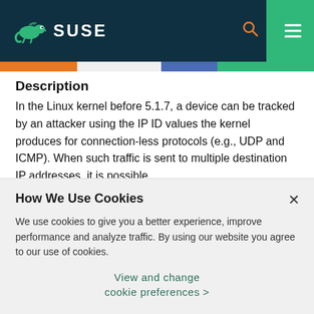SUSE
Description
In the Linux kernel before 5.1.7, a device can be tracked by an attacker using the IP ID values the kernel produces for connection-less protocols (e.g., UDP and ICMP). When such traffic is sent to multiple destination IP addresses, it is possible
How We Use Cookies
We use cookies to give you a better experience, improve performance and analyze traffic. By using our website you agree to our use of cookies.
View and change cookie preferences >